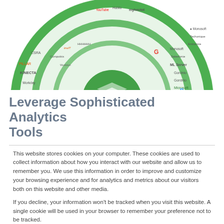[Figure (infographic): A semicircular analytics ecosystem diagram showing various technology and analytics tool logos arranged in concentric arcs around a central green layered icon. Company logos visible include Garmin, fitbit, Kinecta, Hyroclassic, Microsoft Excel, R, HLT, and many others arranged in a half-wheel layout with green ring borders.]
Leverage Sophisticated Analytics Tools
This website stores cookies on your computer. These cookies are used to collect information about how you interact with our website and allow us to remember you. We use this information in order to improve and customize your browsing experience and for analytics and metrics about our visitors both on this website and other media.

If you decline, your information won't be tracked when you visit this website. A single cookie will be used in your browser to remember your preference not to be tracked.